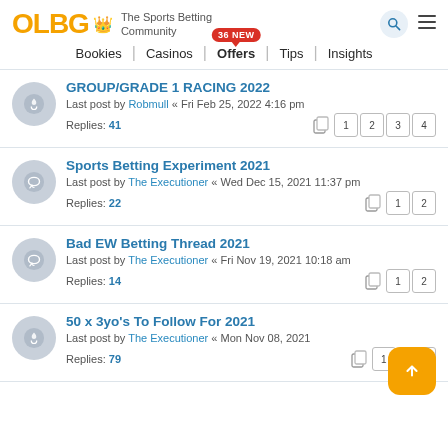OLBG The Sports Betting Community
Bookies | Casinos | Offers (36 NEW) | Tips | Insights
GROUP/GRADE 1 RACING 2022 - Last post by Robmull « Fri Feb 25, 2022 4:16 pm - Replies: 41 - Pages: 1 2 3 4
Sports Betting Experiment 2021 - Last post by The Executioner « Wed Dec 15, 2021 11:37 pm - Replies: 22 - Pages: 1 2
Bad EW Betting Thread 2021 - Last post by The Executioner « Fri Nov 19, 2021 10:18 am - Replies: 14 - Pages: 1 2
50 x 3yo's To Follow For 2021 - Last post by The Executioner « Mon Nov 08, 2021 ... - Replies: 79 - Pages: 1 ... 7